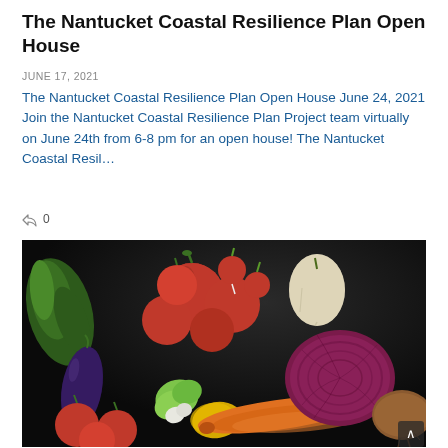The Nantucket Coastal Resilience Plan Open House
JUNE 17, 2021
The Nantucket Coastal Resilience Plan Open House June 24, 2021 Join the Nantucket Coastal Resilience Plan Project team virtually on June 24th from 6-8 pm for an open house! The Nantucket Coastal Resil…
0
[Figure (photo): Dark background photograph of an assortment of fresh vegetables including tomatoes, radishes, eggplant, carrots, red cabbage, yellow squash, and leafy greens arranged together.]